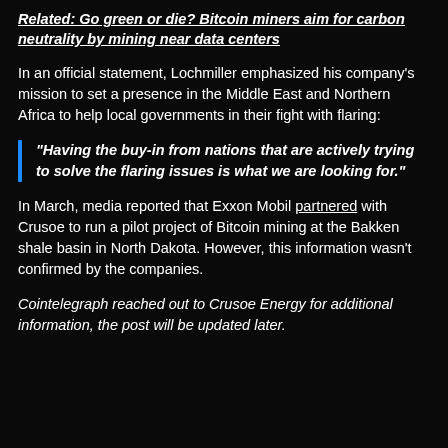Related: Go green or die? Bitcoin miners aim for carbon neutrality by mining near data centers
In an official statement, Lochmiller emphasized his company's mission to set a presence in the Middle East and Northern Africa to help local governments in their fight with flaring:
“Having the buy-in from nations that are actively trying to solve the flaring issues is what we are looking for.”
In March, media reported that Exxon Mobil partnered with Crusoe to run a pilot project of Bitcoin mining at the Bakken shale basin in North Dakota. However, this information wasn’t confirmed by the companies.
Cointelegraph reached out to Crusoe Energy for additional information, the post will be updated later.